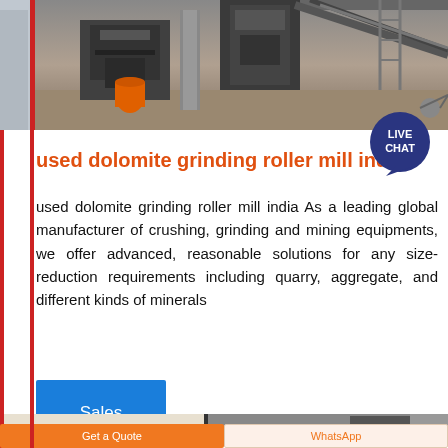[Figure (photo): Industrial machinery/grinding mill equipment in a factory setting, showing heavy equipment, conveyors, and machinery components.]
used dolomite grinding roller mill india
used dolomite grinding roller mill india As a leading global manufacturer of crushing, grinding and mining equipments, we offer advanced, reasonable solutions for any size-reduction requirements including quarry, aggregate, and different kinds of minerals
Sales Online
[Figure (photo): Partial bottom strip showing another machinery/equipment image, partially cut off.]
Get a Quote
WhatsApp